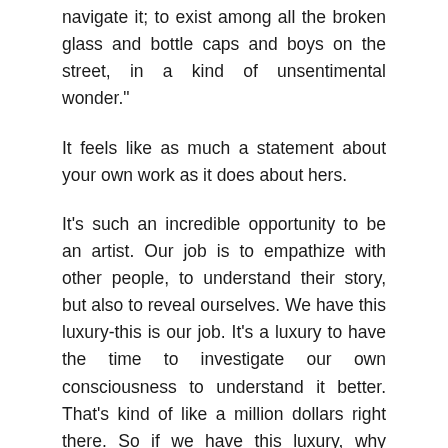navigate it; to exist among all the broken glass and bottle caps and boys on the street, in a kind of unsentimental wonder."
It feels like as much a statement about your own work as it does about hers.
It's such an incredible opportunity to be an artist. Our job is to empathize with other people, to understand their story, but also to reveal ourselves. We have this luxury-this is our job. It's a luxury to have the time to investigate our own consciousness to understand it better. That's kind of like a million dollars right there. So if we have this luxury, why wouldn't we exploit it? It's our job, really. That's what I feel.
For you, is writing-whether it be essays or criticism-a way of figuring out the world?